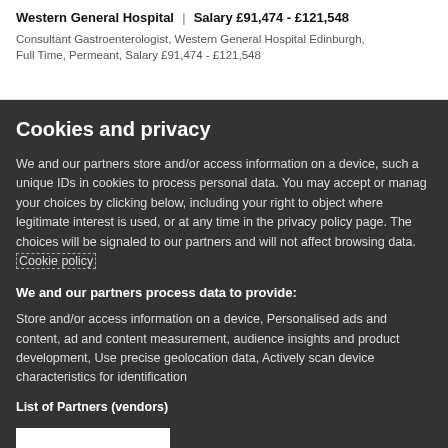Western General Hospital | Salary £91,474 - £121,548
Consultant Gastroenterologist, Western General Hospital Edinburgh, Full Time, Permeant, Salary £91,474 - £121,548
Cookies and privacy
We and our partners store and/or access information on a device, such as unique IDs in cookies to process personal data. You may accept or manage your choices by clicking below, including your right to object where legitimate interest is used, or at any time in the privacy policy page. These choices will be signaled to our partners and will not affect browsing data. Cookie policy
We and our partners process data to provide:
Store and/or access information on a device, Personalised ads and content, ad and content measurement, audience insights and product development, Use precise geolocation data, Actively scan device characteristics for identification
List of Partners (vendors)
I Accept